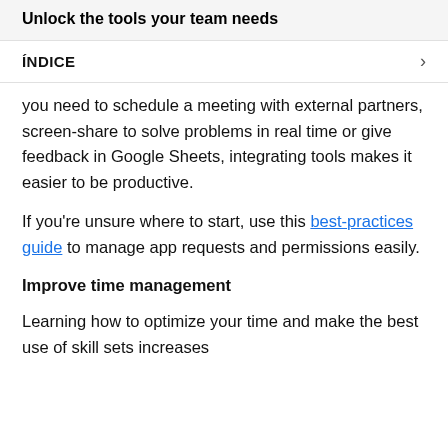Unlock the tools your team needs
ÍNDICE
you need to schedule a meeting with external partners, screen-share to solve problems in real time or give feedback in Google Sheets, integrating tools makes it easier to be productive.
If you're unsure where to start, use this best-practices guide to manage app requests and permissions easily.
Improve time management
Learning how to optimize your time and make the best use of skill sets increases